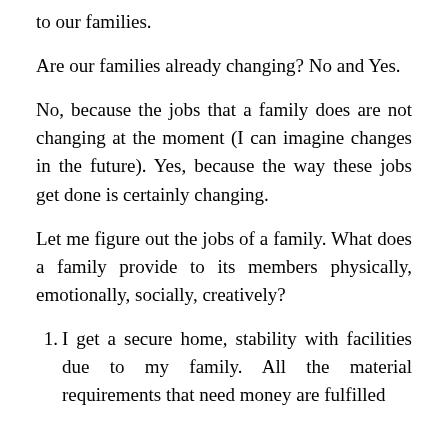… want to apply this principle of similar things to our families.
Are our families already changing? No and Yes.
No, because the jobs that a family does are not changing at the moment (I can imagine changes in the future). Yes, because the way these jobs get done is certainly changing.
Let me figure out the jobs of a family. What does a family provide to its members physically, emotionally, socially, creatively?
I get a secure home, stability with facilities due to my family. All the material requirements that need money are fulfilled